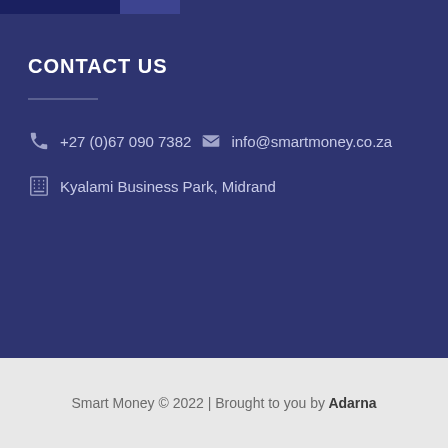CONTACT US
+27 (0)67 090 7382   info@smartmoney.co.za
Kyalami Business Park, Midrand
Smart Money © 2022 | Brought to you by Adarna